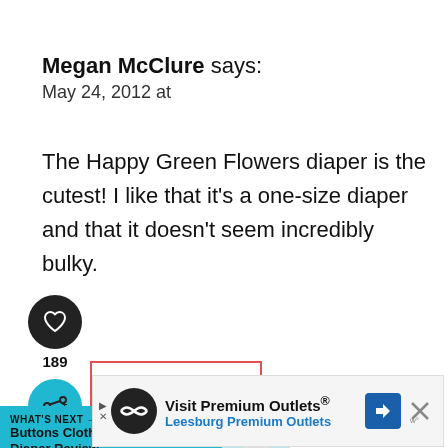Megan McClure says:
May 24, 2012 at
The Happy Green Flowers diaper is the cutest! I like that it's a one-size diaper and that it doesn't seem incredibly bulky.
[Figure (infographic): Like button (heart icon) dark circle, count 189, share button teal circle with share icon, and Reply link in red-bordered box]
[Figure (infographic): What's Next promo bar in teal: 'WHAT'S NEXT → Buttons Cloth Diaper Review' with diaper image]
[Figure (infographic): Advertisement banner: Visit Premium Outlets® Leesburg Premium Outlets with logo, arrow icon, and close X button]